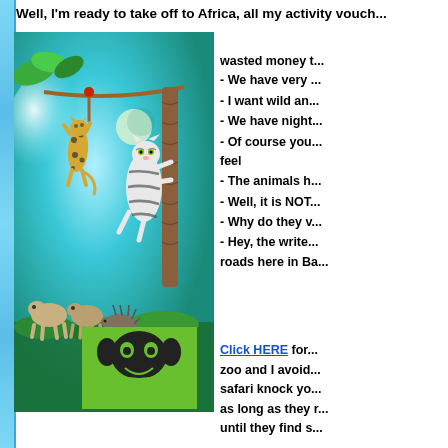Well, I'm ready to take off to Africa, all my activity vouch... wasted money t...
[Figure (photo): Chiang Mai Night Safari promotional image showing a leopard hanging from a rope on the left, a white tiger climbing a rope post on the right, hyenas and a porcupine at the bottom, all set against a teal/blue glowing background with moon and tropical leaves. Chiang Mai Night Safari logo visible at bottom center.]
- We have very ...
- I want wild an...
- We have night...
- Of course you... feel
- The animals h...
- Well, it is NOT...
- Why do they v...
- Hey, the write... roads here in Ba...
Click HERE for... zoo and I avoid... safari knock yo... as long as they r... until they find s...